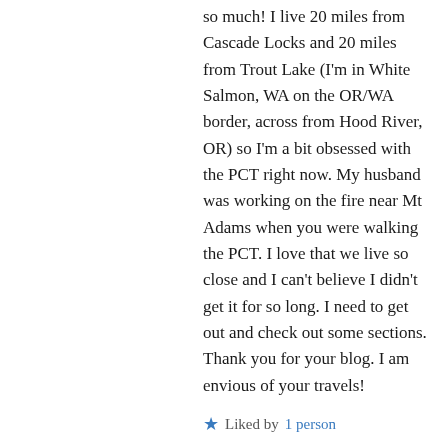so much! I live 20 miles from Cascade Locks and 20 miles from Trout Lake (I'm in White Salmon, WA on the OR/WA border, across from Hood River, OR) so I'm a bit obsessed with the PCT right now. My husband was working on the fire near Mt Adams when you were walking the PCT. I love that we live so close and I can't believe I didn't get it for so long. I need to get out and check out some sections. Thank you for your blog. I am envious of your travels!
★ Liked by 1 person
↪ Reply
followingthearrows on February 17, 2016 at 6:49 pm